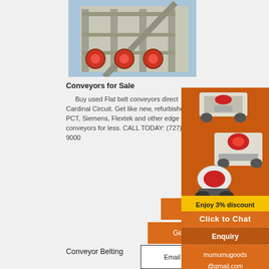[Figure (photo): Industrial conveyor/processing facility with large structural steel framework and red circular machinery components against a blue sky background]
Conveyors for Sale
Buy used Flat belt conveyors direct Cardinal Circuit. Get like new, refurbished PCT, Siemens, Flextek and other edge b conveyors for less. CALL TODAY: (727) 9000
[Figure (photo): Orange sidebar advertisement showing industrial crushing/mining equipment machines on orange background]
Enjoy 3% discount
Click to Chat
Enquiry
mumumugoods @gmail.com
More
Get Price
Conveyor Belting
Email contact
[Figure (photo): Industrial structure with red diagonal element against blue sky, partial view at bottom of page]